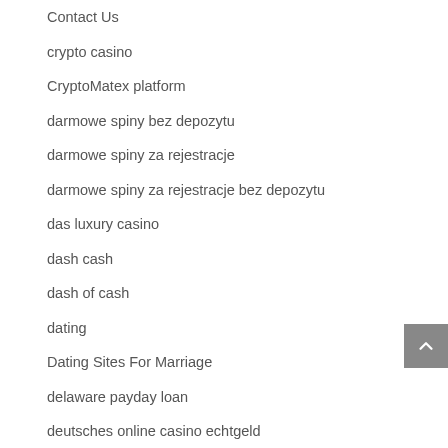Contact Us
crypto casino
CryptoMatex platform
darmowe spiny bez depozytu
darmowe spiny za rejestracje
darmowe spiny za rejestracje bez depozytu
das luxury casino
dash cash
dash of cash
dating
Dating Sites For Marriage
delaware payday loan
deutsches online casino echtgeld
die besten online casinos
direct payday lenders no third party no teletrack